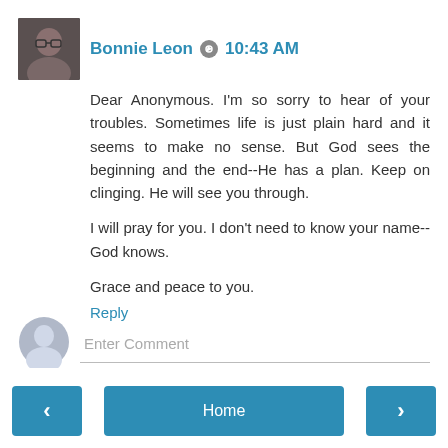[Figure (photo): Profile photo of Bonnie Leon, a woman with glasses]
Bonnie Leon  10:43 AM
Dear Anonymous. I'm so sorry to hear of your troubles. Sometimes life is just plain hard and it seems to make no sense. But God sees the beginning and the end--He has a plan. Keep on clinging. He will see you through.

I will pray for you. I don't need to know your name--God knows.

Grace and peace to you.
Reply
Enter Comment
< Home >